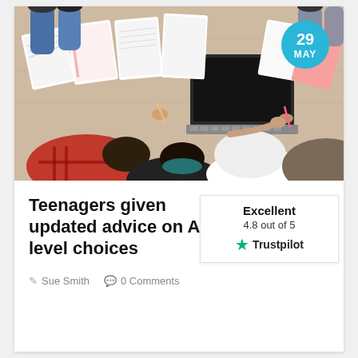[Figure (photo): Overhead view of teenagers lying on the floor studying, holding notebooks and working on a laptop, with a date badge showing '29 MAY' in a cyan circle overlay]
Teenagers given updated advice on A-level choices
Excellent
4.8 out of 5
Trustpilot
Sue Smith   0 Comments